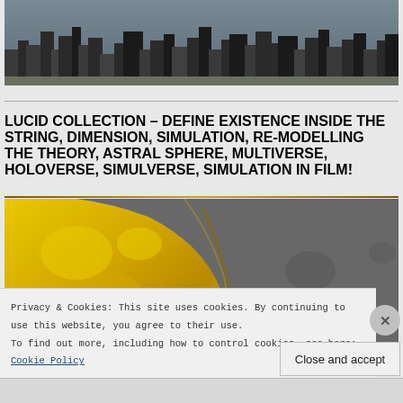[Figure (photo): Aerial city skyline photograph showing dense urban buildings in dark grey/muted tones]
LUCID COLLECTION – DEFINE EXISTENCE INSIDE THE STRING, DIMENSION, SIMULATION, RE-MODELLING THE THEORY, ASTRAL SPHERE, MULTIVERSE, HOLOVERSE, SIMULVERSE, SIMULATION IN FILM!
[Figure (photo): Close-up abstract image showing bright yellow/gold substance meeting a grey surface, possibly a planet or liquid boundary]
Privacy & Cookies: This site uses cookies. By continuing to use this website, you agree to their use.
To find out more, including how to control cookies, see here: Cookie Policy
Close and accept